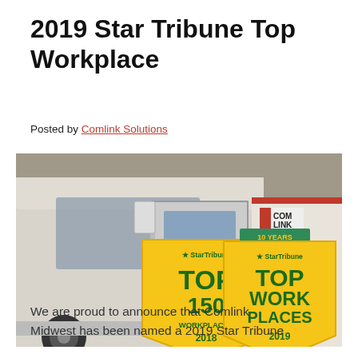2019 Star Tribune Top Workplace
Posted by Comlink Solutions
[Figure (photo): A white Comlink Midwest semi-truck cab with the Comlink logo visible, alongside a trailer bearing the Comlink Midwest logo and website comlinkmidwest.com. Two gold Star Tribune award badges are overlaid: 'TOP 150 WORKPLACES 2018' and 'TOP WORK PLACES 2019' with a '10 YEARS' banner.]
We are proud to announce that Comlink Midwest has been named a 2019 Star Tribune